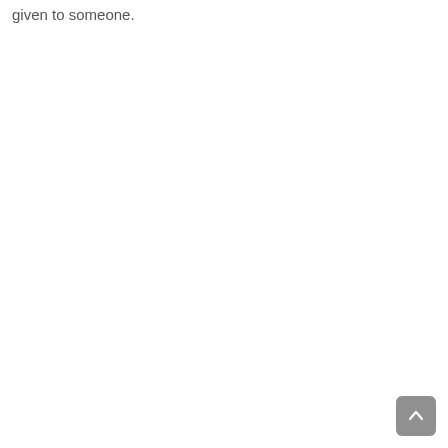given to someone.
[Figure (other): Back-to-top button: a grey rounded square with a white upward arrow icon in the bottom-right corner of the page.]